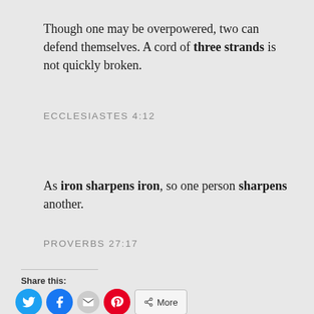Though one may be overpowered, two can defend themselves. A cord of three strands is not quickly broken.
ECCLESIASTES 4:12
As iron sharpens iron, so one person sharpens another.
PROVERBS 27:17
Share this: